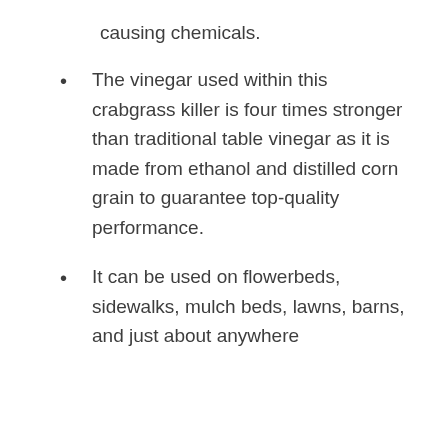causing chemicals.
The vinegar used within this crabgrass killer is four times stronger than traditional table vinegar as it is made from ethanol and distilled corn grain to guarantee top-quality performance.
It can be used on flowerbeds, sidewalks, mulch beds, lawns, barns, and just about anywhere